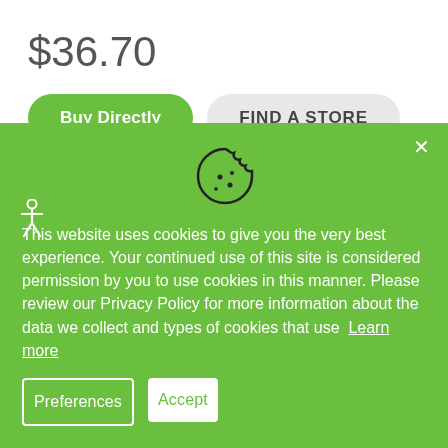$36.70
Buy Directly
FIND A STORE
This website uses cookies to give you the very best experience. Your continued use of this site is considered permission by you to use cookies in this manner. Please review our Privacy Policy for more information about the data we collect and types of cookies that use  Learn more
Preferences
Accept